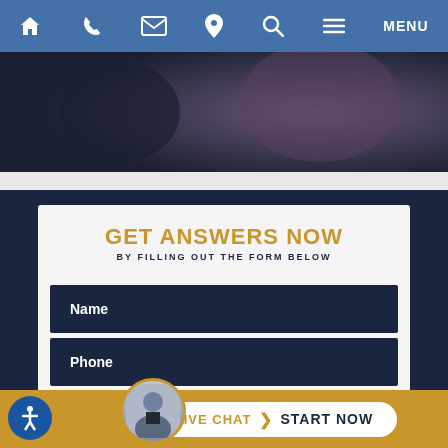[Figure (screenshot): Navigation bar with home, phone, email, location, search, and menu icons on blue background]
[Figure (photo): Dark hero image with blurred background]
GET ANSWERS NOW
BY FILLING OUT THE FORM BELOW
Name
Phone
Email
M
LIVE CHAT  ❯  START NOW